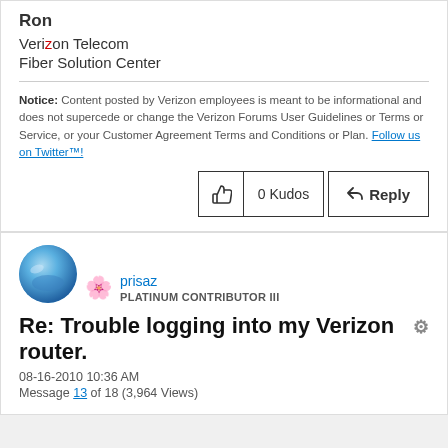Ron
Verizon Telecom
Fiber Solution Center
Notice: Content posted by Verizon employees is meant to be informational and does not supercede or change the Verizon Forums User Guidelines or Terms or Service, or your Customer Agreement Terms and Conditions or Plan. Follow us on Twitter™!
0 Kudos
Reply
[Figure (photo): User avatar - blue sky profile photo]
[Figure (illustration): Badge icon - flower/plant badge for Platinum Contributor III]
prisaz
PLATINUM CONTRIBUTOR III
Re: Trouble logging into my Verizon router.
08-16-2010 10:36 AM
Message 13 of 18 (3,964 Views)